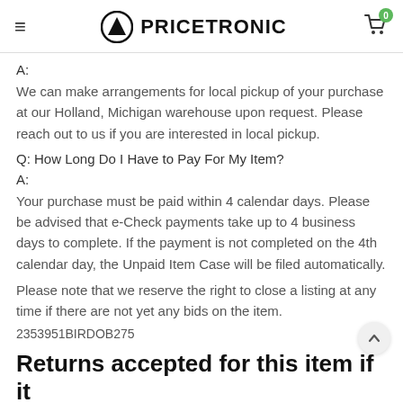PRICETRONIC
A:
We can make arrangements for local pickup of your purchase at our Holland, Michigan warehouse upon request. Please reach out to us if you are interested in local pickup.
Q: How Long Do I Have to Pay For My Item?
A:
Your purchase must be paid within 4 calendar days. Please be advised that e-Check payments take up to 4 business days to complete. If the payment is not completed on the 4th calendar day, the Unpaid Item Case will be filed automatically.
Please note that we reserve the right to close a listing at any time if there are not yet any bids on the item.
2353951BIRDOB275
Returns accepted for this item if it…